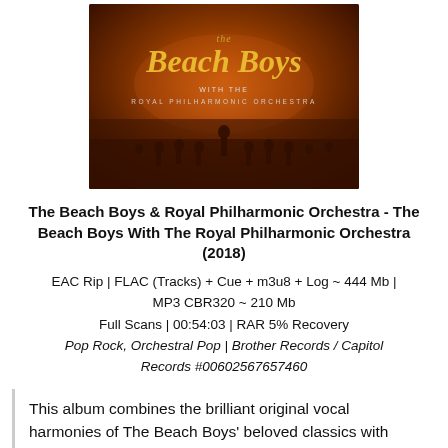[Figure (photo): Album cover for The Beach Boys with the Royal Philharmonic Orchestra (2018). Dark orange-tinted image showing an orchestra on stage with 'The Beach Boys' logo in gold italic script at top and 'Royal Philharmonic Orchestra' text below it.]
The Beach Boys & Royal Philharmonic Orchestra - The Beach Boys With The Royal Philharmonic Orchestra (2018)
EAC Rip | FLAC (Tracks) + Cue + m3u8 + Log ~ 444 Mb | MP3 CBR320 ~ 210 Mb
Full Scans | 00:54:03 | RAR 5% Recovery
Pop Rock, Orchestral Pop | Brother Records / Capitol Records #00602567657460
This album combines the brilliant original vocal harmonies of The Beach Boys' beloved classics with brand new symphonic